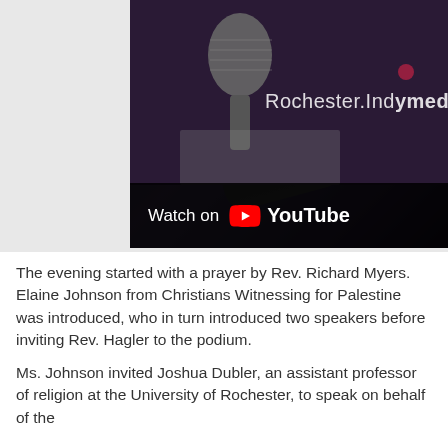[Figure (screenshot): YouTube video thumbnail showing a person at a microphone with a bow tie, with Rochester.Indymedia.org watermark and a 'Watch on YouTube' bar at the bottom.]
The evening started with a prayer by Rev. Richard Myers. Elaine Johnson from Christians Witnessing for Palestine was introduced, who in turn introduced two speakers before inviting Rev. Hagler to the podium.
Ms. Johnson invited Joshua Dubler, an assistant professor of religion at the University of Rochester, to speak on behalf of the